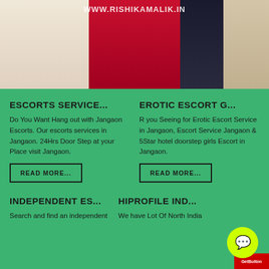[Figure (photo): Three women posing together in dresses (white lace, red, black), with watermark text WWW.RISHIKAMALIK.IN at top]
ESCORTS SERVICE...
Do You Want Hang out with Jangaon Escorts. Our escorts services in Jangaon. 24Hrs Door Step at your Place visit Jangaon.
READ MORE...
EROTIC ESCORT G...
R you Seeing for Erotic Escort Service in Jangaon, Escort Service Jangaon & 5Star hotel doorstep girls Escort in Jangaon.
READ MORE...
INDEPENDENT ES...
Search and find an independent
HIPROFILE IND...
We have Lot Of North India